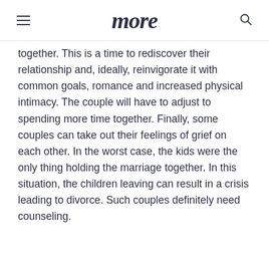more
together. This is a time to rediscover their relationship and, ideally, reinvigorate it with common goals, romance and increased physical intimacy. The couple will have to adjust to spending more time together. Finally, some couples can take out their feelings of grief on each other. In the worst case, the kids were the only thing holding the marriage together. In this situation, the children leaving can result in a crisis leading to divorce. Such couples definitely need counseling.